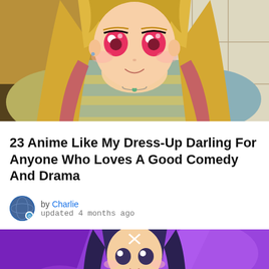[Figure (illustration): Anime girl with long blonde hair and pink/red eyes, wearing a plaid blue and beige top, smiling with hands on hips, against a shoji screen background]
23 Anime Like My Dress-Up Darling For Anyone Who Loves A Good Comedy And Drama
by Charlie updated 4 months ago
[Figure (illustration): Anime girl with dark purple hair and hair clip, against a vibrant purple abstract background, lower portion of a webpage article]